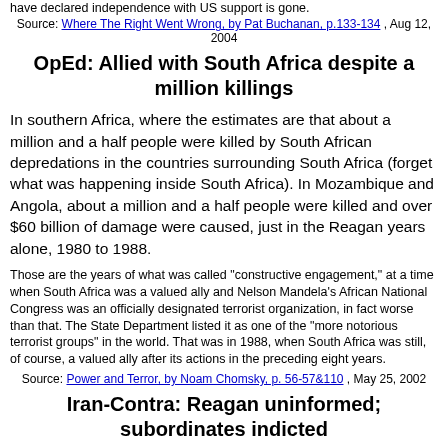have declared independence with US support is gone.
Source: Where The Right Went Wrong, by Pat Buchanan, p.133-134 , Aug 12, 2004
OpEd: Allied with South Africa despite a million killings
In southern Africa, where the estimates are that about a million and a half people were killed by South African depredations in the countries surrounding South Africa (forget what was happening inside South Africa). In Mozambique and Angola, about a million and a half people were killed and over $60 billion of damage were caused, just in the Reagan years alone, 1980 to 1988.
Those are the years of what was called "constructive engagement," at a time when South Africa was a valued ally and Nelson Mandela's African National Congress was an officially designated terrorist organization, in fact worse than that. The State Department listed it as one of the "more notorious terrorist groups" in the world. That was in 1988, when South Africa was still, of course, a valued ally after its actions in the preceding eight years.
Source: Power and Terror, by Noam Chomsky, p. 56-57&110 , May 25, 2002
Iran-Contra: Reagan uninformed; subordinates indicted
Reagan's most damaging foreign-policy event was the Iran-contra affair. Late in 1986 the administration admitted that it had been secretly selling arms to Iran, with some of the profits possibly going